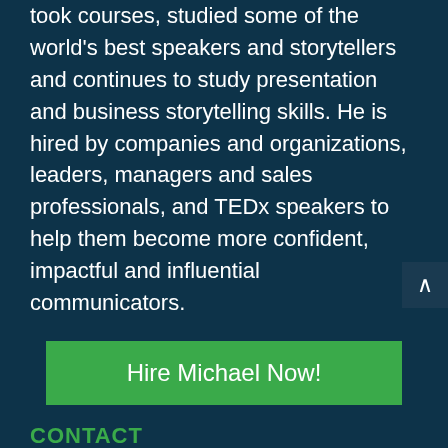took courses, studied some of the world's best speakers and storytellers and continues to study presentation and business storytelling skills. He is hired by companies and organizations, leaders, managers and sales professionals, and TEDx speakers to help them become more confident, impactful and influential communicators.
Hire Michael Now!
CONTACT
Address:
Michael Davis – Speaking CPR
P.O. Box 42418